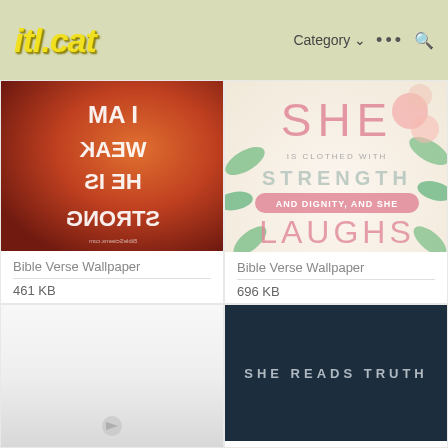itl.cat — Category ··· 🔍
[Figure (photo): Bible verse wallpaper with mirrored/reversed white text reading I AM WEAK HE IS STRONG on a red-orange textured background]
Bible Verse Wallpaper
461 KB
[Figure (photo): Bible verse wallpaper with floral design reading SHE IS CLOTHED WITH STRENGTH AND DIGNITY AND SHE LAUGHS WITHOUT FEAR OF THE FUTURE PROVERBS 31:25]
Bible Verse Wallpaper
696 KB
[Figure (photo): White and light gray gradient wallpaper, partially visible]
[Figure (photo): Dark navy/teal background wallpaper reading SHE READS TRUTH in light letters]